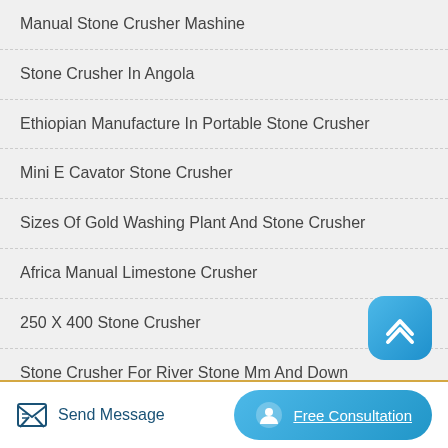Manual Stone Crusher Mashine
Stone Crusher In Angola
Ethiopian Manufacture In Portable Stone Crusher
Mini E Cavator Stone Crusher
Sizes Of Gold Washing Plant And Stone Crusher
Africa Manual Limestone Crusher
250 X 400 Stone Crusher
Stone Crusher For River Stone Mm And Down
[Figure (illustration): Blue rounded square button with white upward chevron arrow (scroll to top button)]
Send Message | Free Consultation